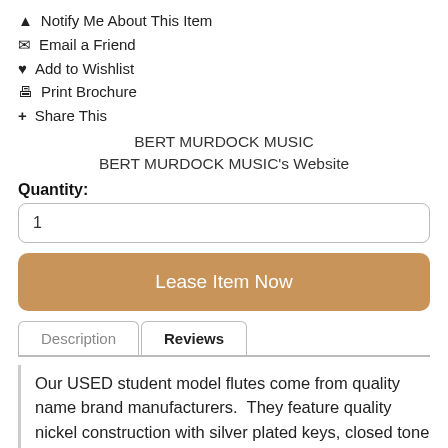🔔 Notify Me About This Item
✉ Email a Friend
♥ Add to Wishlist
🖶 Print Brochure
+ Share This
BERT MURDOCK MUSIC
BERT MURDOCK MUSIC's Website
Quantity:
1
Lease Item Now
Description
Reviews
Our USED student model flutes come from quality name brand manufacturers.  They feature quality nickel construction with silver plated keys, closed tone holes and a C foot